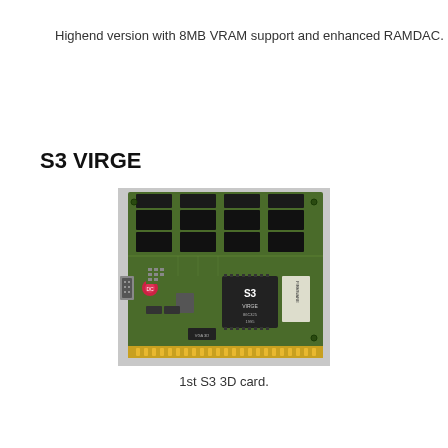Highend version with 8MB VRAM support and enhanced RAMDAC.
S3 VIRGE
[Figure (photo): Photo of an S3 VIRGE graphics card (PCB), a green circuit board with multiple memory chips arranged in rows at the top, an S3 chip in the center-lower area, and a VGA connector on the left side. Gold edge connector visible at the bottom.]
1st S3 3D card.